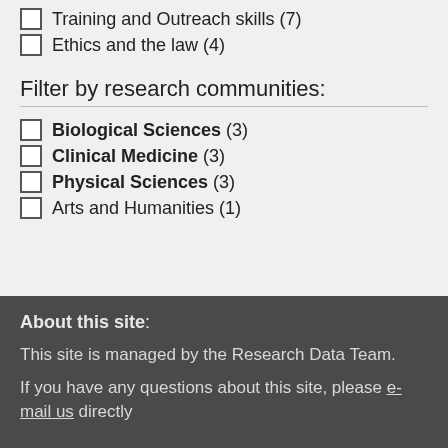Training and Outreach skills (7)
Ethics and the law (4)
Filter by research communities:
Biological Sciences (3)
Clinical Medicine (3)
Physical Sciences (3)
Arts and Humanities (1)
About this site: This site is managed by the Research Data Team. If you have any questions about this site, please e-mail us directly